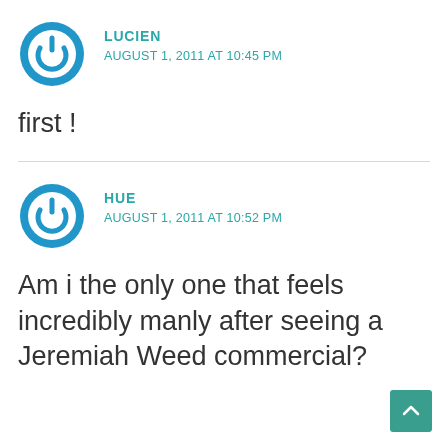[Figure (illustration): Blue circular power button icon avatar for user Lucien]
LUCIEN
AUGUST 1, 2011 AT 10:45 PM
first !
[Figure (illustration): Blue circular power button icon avatar for user Hue]
HUE
AUGUST 1, 2011 AT 10:52 PM
Am i the only one that feels incredibly manly after seeing a Jeremiah Weed commercial?